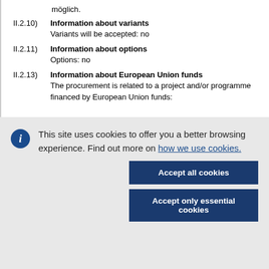möglich.
II.2.10) Information about variants
Variants will be accepted: no
II.2.11) Information about options
Options: no
II.2.13) Information about European Union funds
The procurement is related to a project and/or programme financed by European Union funds:
This site uses cookies to offer you a better browsing experience. Find out more on how we use cookies.
Accept all cookies
Accept only essential cookies